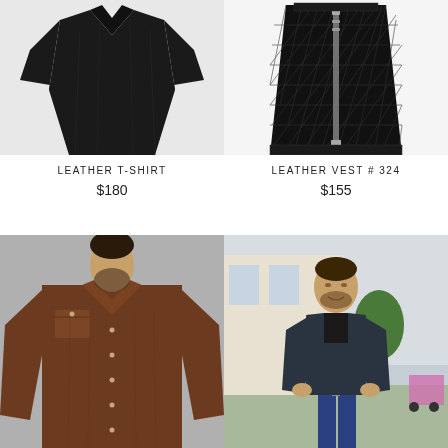[Figure (photo): Black leather t-shirt on white background]
LEATHER T-SHIRT
$180
[Figure (photo): Black quilted leather vest with zipper on white background]
LEATHER VEST # 324
$155
[Figure (photo): Man wearing brown leather shirt with two chest pockets and snap buttons]
[Figure (photo): Man wearing black leather jacket walking outdoors]